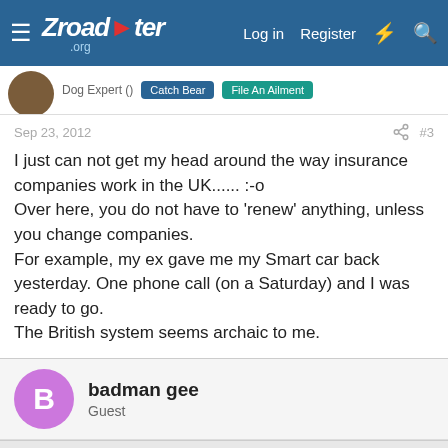Zroadster.org — Log in  Register
Sep 23, 2012  #3
I just can not get my head around the way insurance companies work in the UK...... :-o
Over here, you do not have to 'renew' anything, unless you change companies.
For example, my ex gave me my Smart car back yesterday. One phone call (on a Saturday) and I was ready to go.
The British system seems archaic to me.
badman gee
Guest
This site uses cookies to help personalise content, tailor your experience and to keep you logged in if you register.
By continuing to use this site, you are consenting to our use of cookies.